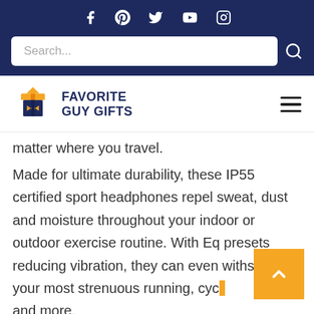[Figure (other): Social media icons row: Facebook, Pinterest, Twitter, YouTube, Instagram on navy background]
[Figure (other): Search input box with placeholder 'Search...' and a search icon on navy background]
[Figure (logo): Favorite Guy Gifts logo with orange gift box icon and dark blue text, hamburger menu icon on right]
matter where you travel.
Made for ultimate durability, these IP55 certified sport headphones repel sweat, dust and moisture throughout your indoor or outdoor exercise routine. With Eq presets reducing vibration, they can even withstand your most strenuous running, cycling and more.